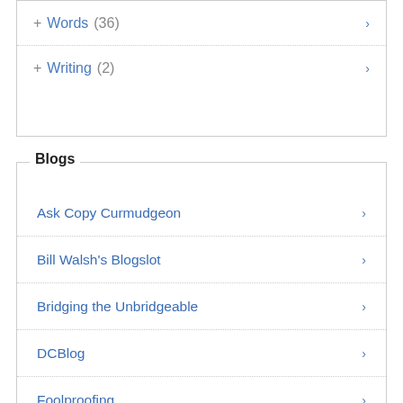+ Words (36) ›
+ Writing (2) ›
Blogs
Ask Copy Curmudgeon ›
Bill Walsh's Blogslot ›
Bridging the Unbridgeable ›
DCBlog ›
Foolproofing ›
Fritinancy ›